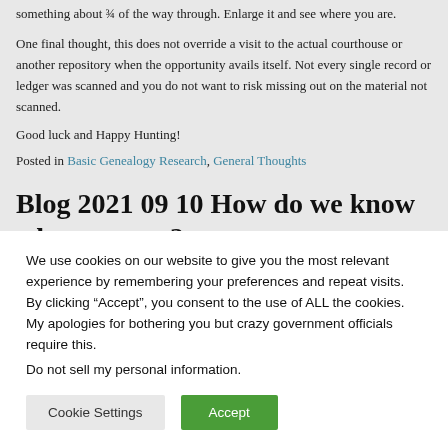something about ¾ of the way through. Enlarge it and see where you are.
One final thought, this does not override a visit to the actual courthouse or another repository when the opportunity avails itself. Not every single record or ledger was scanned and you do not want to risk missing out on the material not scanned.
Good luck and Happy Hunting!
Posted in Basic Genealogy Research, General Thoughts
Blog 2021 09 10 How do we know what to trust?
We use cookies on our website to give you the most relevant experience by remembering your preferences and repeat visits. By clicking "Accept", you consent to the use of ALL the cookies. My apologies for bothering you but crazy government officials require this.
Do not sell my personal information.